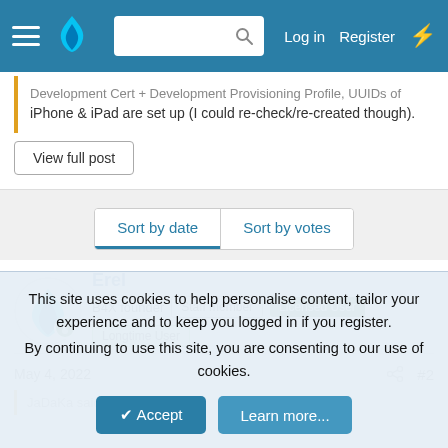Log in  Register
Development Cert + Development Provisioning Profile, UUIDs of iPhone & iPad are set up (I could re-check/re-created though).
View full post
Sort by date  Sort by votes
Erel
B4X founder  Staff member  Licensed User  Longtime User
May 4, 2022  #2
JaDaKa said:
This site uses cookies to help personalise content, tailor your experience and to keep you logged in if you register.
By continuing to use this site, you are consenting to our use of cookies.
Accept  Learn more...